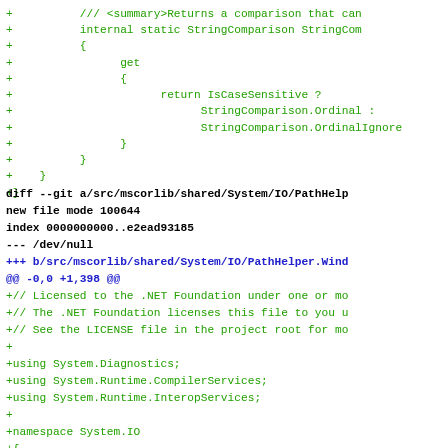Code diff showing additions to StringComparison and PathHelper files
diff --git a/src/mscorlib/shared/System/IO/PathHelp
new file mode 100644
index 0000000000..e2ead93185
--- /dev/null
+++ b/src/mscorlib/shared/System/IO/PathHelper.Wind
@@ -0,0 +1,398 @@
+// Licensed to the .NET Foundation under one or mo
+// The .NET Foundation licenses this file to you u
+// See the LICENSE file in the project root for mo
+
+using System.Diagnostics;
+using System.Runtime.CompilerServices;
+using System.Runtime.InteropServices;
+
+namespace System.IO
+{
+    /// <summary>